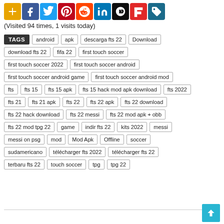[Figure (infographic): Row of social media sharing icon buttons: AddThis (plus), Facebook, Twitter, Pinterest, Reddit, LinkedIn, Dailymotion, Flipboard, and a tag/bookmark icon.]
(Visited 94 times, 1 visits today)
TAGS android apk descarga fts 22 Download download fts 22 fifa 22 first touch soccer first touch soccer 2022 first touch soccer android first touch soccer android game first touch soccer android mod fts fts 15 fts 15 apk fts 15 hack mod apk download fts 2022 fts 21 fts 21 apk fts 22 fts 22 apk fts 22 download fts 22 hack download fts 22 messi fts 22 mod apk + obb fts 22 mod tpg 22 game indir fts 22 kits 2022 messi messi on psg mod Mod Apk Offline soccer sudamericano télécharger fts 2022 télécharger fts 22 terbaru fts 22 touch soccer tpg tpg 22